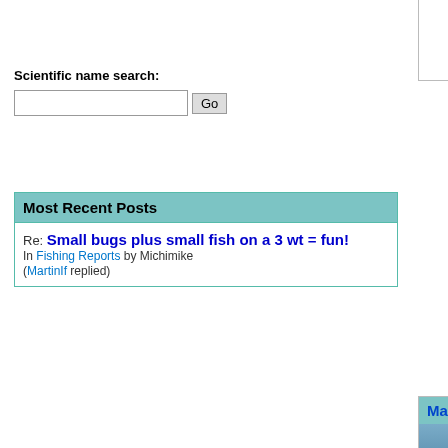"Envy not the man who lives
Scientific name search:
Search input and Go button
Most Recent Posts
Re: Small bugs plus small fish on a 3 wt = fun! In Fishing Reports by Michimike (MartinIf replied)
MartinIf — September 10th, 2009, 2:44
Way cool, thanks!!!
Moderator
Palmyra PA
Posts: 3203
"He spread them a yard and
--Fred Chappell
Troutnut — September 10th, 2009, 7:46